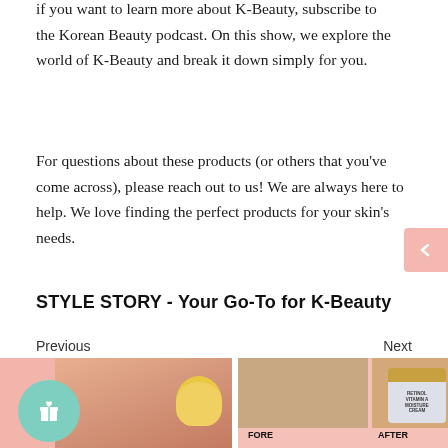if you want to learn more about K-Beauty, subscribe to the Korean Beauty podcast. On this show, we explore the world of K-Beauty and break it down simply for you.
For questions about these products (or others that you've come across), please reach out to us! We are always here to help. We love finding the perfect products for your skin's needs.
STYLE STORY - Your Go-To for K-Beauty
Previous
Next
[Figure (photo): Left image card showing a woman's face with K-beauty products including a yellow jar and a gift badge icon on a pink background]
[Figure (photo): Right image card showing before and after skin comparison photos with a Retinol Vitamin A Moisture Cream jar on a pink background]